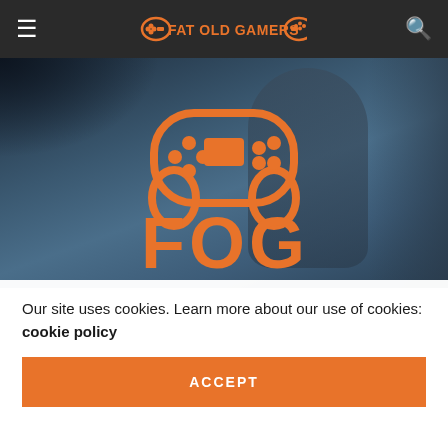FAT OLD GAMERS
[Figure (screenshot): Fat Old Gamers website screenshot showing a dark navigation bar with hamburger menu, FOG logo in orange, search icon. Below is a hero image with a dark bluish game screenshot background showing a bald man with a bat, overlaid with the orange FOG controller logo and 'FOG' text. A cookie consent banner appears at the bottom.]
Our site uses cookies. Learn more about our use of cookies: cookie policy
ACCEPT